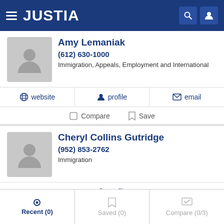JUSTIA
Amy Lemaniak
(612) 630-1000
Immigration, Appeals, Employment and International
website   profile   email
Compare   Save
Cheryl Collins Gutridge
(952) 853-2762
Immigration
profile
Recent (0)   Saved (0)   Compare (0/3)